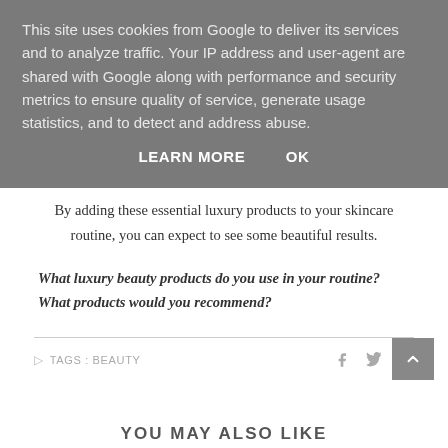This site uses cookies from Google to deliver its services and to analyze traffic. Your IP address and user-agent are shared with Google along with performance and security metrics to ensure quality of service, generate usage statistics, and to detect and address abuse.
LEARN MORE    OK
By adding these essential luxury products to your skincare routine, you can expect to see some beautiful results.
What luxury beauty products do you use in your routine? What products would you recommend?
TAGS : BEAUTY
YOU MAY ALSO LIKE